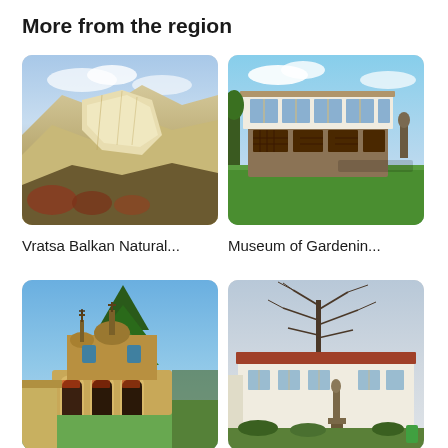More from the region
[Figure (photo): Aerial view of rocky limestone mountain ridges with autumn foliage - Vratsa Balkan Natural Park]
[Figure (photo): Traditional Bulgarian house with white upper floor and wood details, green lawn - Museum of Gardening]
Vratsa Balkan Natural...
Museum of Gardenin...
[Figure (photo): Small Orthodox church with arched porch, frescoes, and tall pine tree beside it]
[Figure (photo): Statue of a man in front of a white building with a large bare tree in winter]